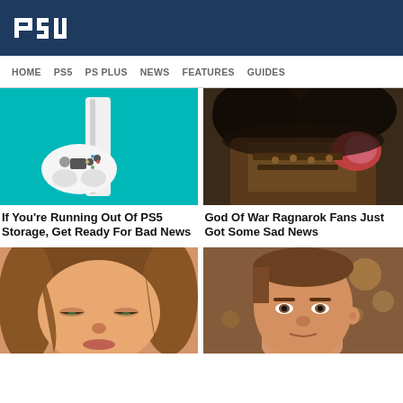PSU
HOME  PS5  PS PLUS  NEWS  FEATURES  GUIDES
[Figure (photo): PS5 console and DualSense controller on teal background]
If You're Running Out Of PS5 Storage, Get Ready For Bad News
[Figure (photo): God of War Ragnarok character closeup with dark fur and armored clothing]
God Of War Ragnarok Fans Just Got Some Sad News
[Figure (photo): Animated female character with brown hair, eyes downcast]
[Figure (photo): Young man with short brown hair in slight profile view]